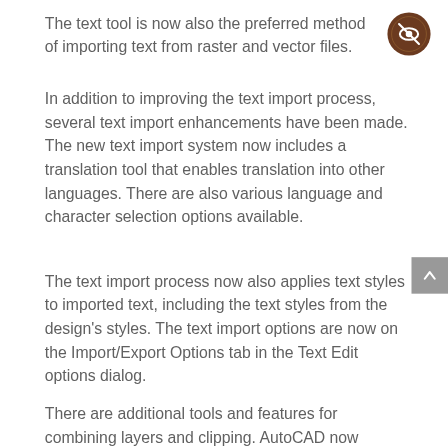The text tool is now also the preferred method of importing text from raster and vector files.
In addition to improving the text import process, several text import enhancements have been made. The new text import system now includes a translation tool that enables translation into other languages. There are also various language and character selection options available.
The text import process now also applies text styles to imported text, including the text styles from the design's styles. The text import options are now on the Import/Export Options tab in the Text Edit options dialog.
There are additional tools and features for combining layers and clipping. AutoCAD now